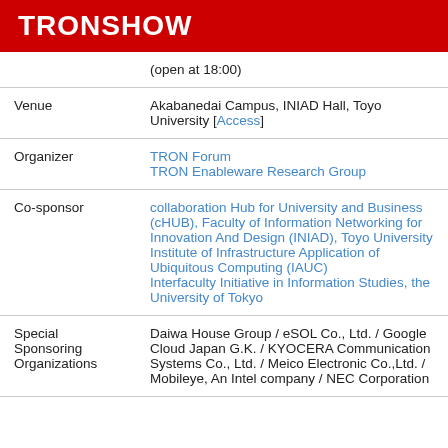TRONSHOW
| (open at 18:00) |  |
| Venue | Akabanedai Campus, INIAD Hall, Toyo University [Access] |
| Organizer | TRON Forum
TRON Enableware Research Group |
| Co-sponsor | collaboration Hub for University and Business (cHUB), Faculty of Information Networking for Innovation And Design (INIAD), Toyo University
Institute of Infrastructure Application of Ubiquitous Computing (IAUC)
Interfaculty Initiative in Information Studies, the University of Tokyo |
| Special Sponsoring Organizations | Daiwa House Group / eSOL Co., Ltd. / Google Cloud Japan G.K. / KYOCERA Communication Systems Co., Ltd. / Meico Electronic Co.,Ltd. / Mobileye, An Intel company / NEC Corporation |